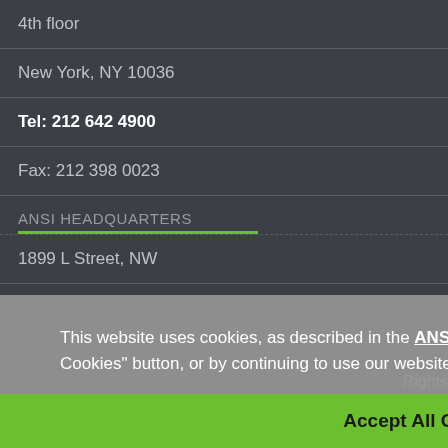4th floor
New York, NY 10036
Tel: 212 642 4900
Fax: 212 398 0023
ANSI HEADQUARTERS
1899 L Street, NW
This website uses cookies, as described in the ANSI Privacy Policy. By clicking on the "Accept All Cookies" button, or by continuing to use our website, you consent to all cookies.
Accept All Cookies
Rights